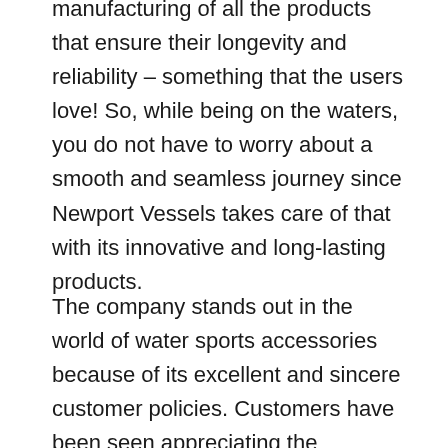manufacturing of all the products that ensure their longevity and reliability – something that the users love! So, while being on the waters, you do not have to worry about a smooth and seamless journey since Newport Vessels takes care of that with its innovative and long-lasting products.
The company stands out in the world of water sports accessories because of its excellent and sincere customer policies. Customers have been seen appreciating the response that they receive from the brand's